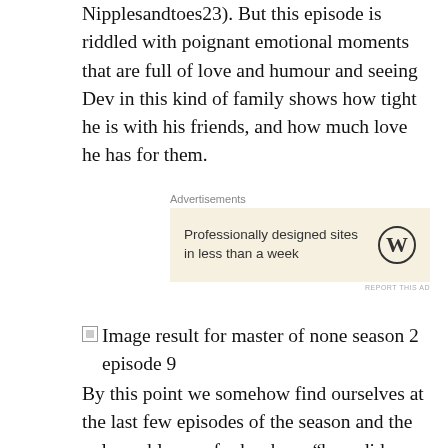Nipplesandtoes23). But this episode is riddled with poignant emotional moments that are full of love and humour and seeing Dev in this kind of family shows how tight he is with his friends, and how much love he has for them.
[Figure (other): WordPress advertisement banner with text 'Professionally designed sites in less than a week' and WordPress logo]
[Figure (photo): Image result for master of none season 2 episode 9 (broken image placeholder)]
By this point we somehow find ourselves at the last few episodes of the season and the only problem so far has been “how did we get to the end already”. It’s one of those whirlwind series that disappear before your very eyes. It maintains focus and it feels like the main story is simply a